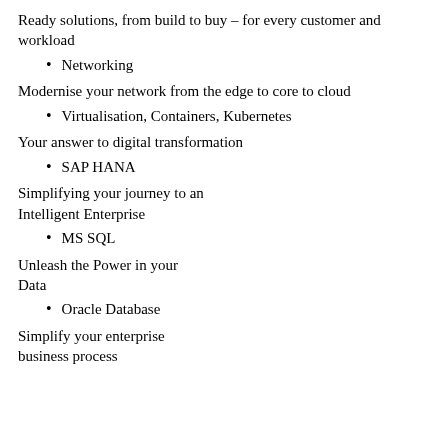Ready solutions, from build to buy – for every customer and workload
Networking
Modernise your network from the edge to core to cloud
Virtualisation, Containers, Kubernetes
Your answer to digital transformation
SAP HANA
Simplifying your journey to an Intelligent Enterprise
MS SQL
Unleash the Power in your Data
Oracle Database
Simplify your enterprise business process